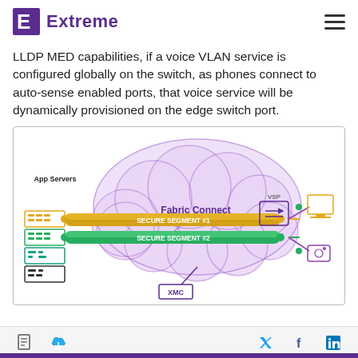Extreme
LLDP MED capabilities, if a voice VLAN service is configured globally on the switch, as phones connect to auto-sense enabled ports, that voice service will be dynamically provisioned on the edge switch port.
[Figure (network-graph): Network diagram showing Fabric Connect Network cloud in the center with App Servers on the left, a VSP switch on the right, and two colored tunnels labeled SECURE SEGMENT #1 (gold/yellow) and SECURE SEGMENT #2 (green) passing through the network. Desktop computer and camera icons on the far right. XMC label at the bottom of the cloud.]